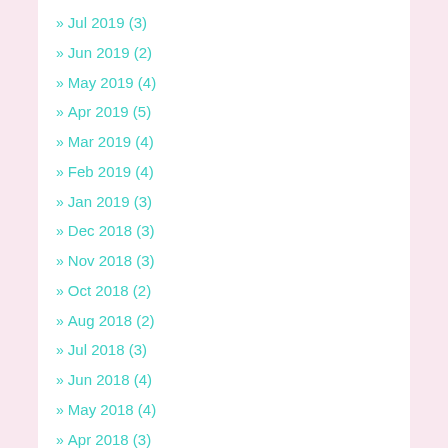» Jul 2019 (3)
» Jun 2019 (2)
» May 2019 (4)
» Apr 2019 (5)
» Mar 2019 (4)
» Feb 2019 (4)
» Jan 2019 (3)
» Dec 2018 (3)
» Nov 2018 (3)
» Oct 2018 (2)
» Aug 2018 (2)
» Jul 2018 (3)
» Jun 2018 (4)
» May 2018 (4)
» Apr 2018 (3)